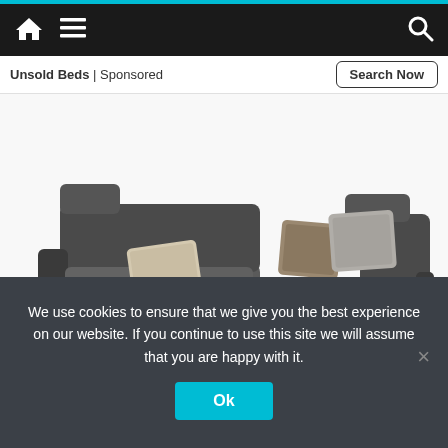Navigation bar with home, menu, and search icons
Unsold Beds | Sponsored
Search Now
[Figure (photo): A modern dark grey L-shaped sectional sofa with adjustable headrests, throw pillows in beige and grey patterns, a fluffy white fur throw blanket, and built-in storage compartments, shown on a white background.]
We use cookies to ensure that we give you the best experience on our website. If you continue to use this site we will assume that you are happy with it.
Ok